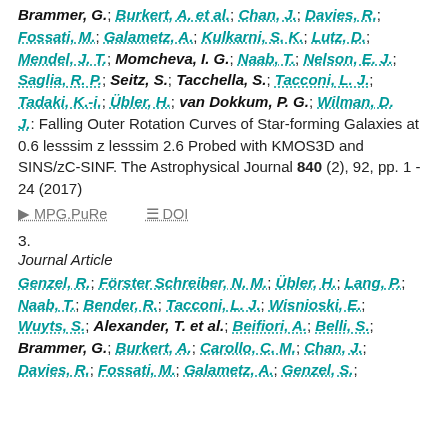Brammer, G.; Burkert, A. et al.; Chan, J.; Davies, R.; Fossati, M.; Galametz, A.; Kulkarni, S. K.; Lutz, D.; Mendel, J. T.; Momcheva, I. G.; Naab, T.; Nelson, E. J.; Saglia, R. P.; Seitz, S.; Tacchella, S.; Tacconi, L. J.; Tadaki, K.-i.; Übler, H.; van Dokkum, P. G.; Wilman, D. J.: Falling Outer Rotation Curves of Star-forming Galaxies at 0.6 lesssim z lesssim 2.6 Probed with KMOS3D and SINS/zC-SINF. The Astrophysical Journal 840 (2), 92, pp. 1 - 24 (2017)
MPG.PuRe   DOI
3.
Journal Article
Genzel, R.; Förster Schreiber, N. M.; Übler, H.; Lang, P.; Naab, T.; Bender, R.; Tacconi, L. J.; Wisnioski, E.; Wuyts, S.; Alexander, T. et al.; Beifiori, A.; Belli, S.; Brammer, G.; Burkert, A.; Carollo, C. M.; Chan, J.; Davies, R.; Fossati, M.; Galametz, A.; Genzel, S.